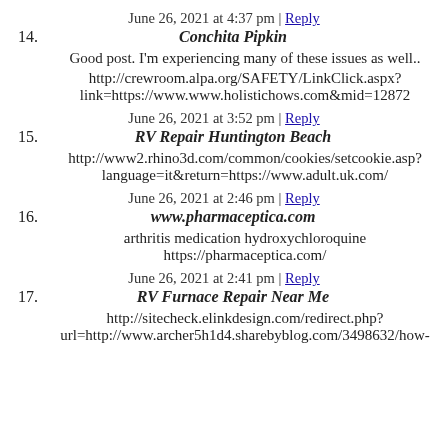14. June 26, 2021 at 4:37 pm | Reply
Conchita Pipkin
Good post. I'm experiencing many of these issues as well..
http://crewroom.alpa.org/SAFETY/LinkClick.aspx?link=https://www.www.holistichows.com&mid=12872
15. June 26, 2021 at 3:52 pm | Reply
RV Repair Huntington Beach
http://www2.rhino3d.com/common/cookies/setcookie.asp?language=it&return=https://www.adult.uk.com/
16. June 26, 2021 at 2:46 pm | Reply
www.pharmaceptica.com
arthritis medication hydroxychloroquine
https://pharmaceptica.com/
17. June 26, 2021 at 2:41 pm | Reply
RV Furnace Repair Near Me
http://sitecheck.elinkdesign.com/redirect.php?url=http://www.archer5h1d4.sharebyblog.com/3498632/how-